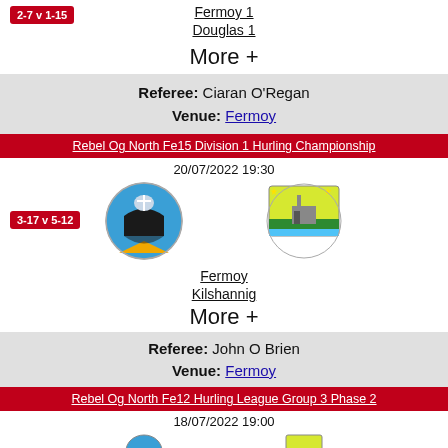Fermoy 1
Douglas 1
2-7 v 1-15
More +
Referee: Ciaran O'Regan
Venue: Fermoy
Rebel Og North Fe15 Division 1 Hurling Championship
20/07/2022 19:30
[Figure (logo): Fermoy GAA club crest]
[Figure (logo): Kilshannig GAA club crest]
Fermoy
Kilshannig
3-17 v 5-12
More +
Referee: John O Brien
Venue: Fermoy
Rebel Og North Fe12 Hurling League Group 3 Phase 2
18/07/2022 19:00